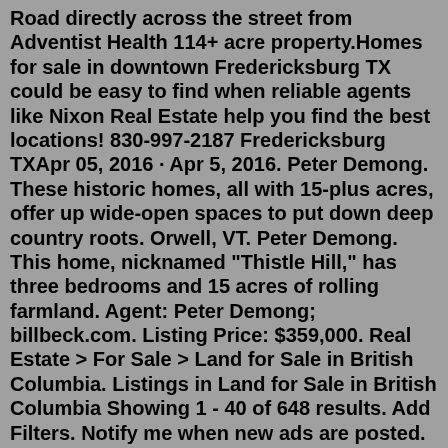Road directly across the street from Adventist Health 114+ acre property.Homes for sale in downtown Fredericksburg TX could be easy to find when reliable agents like Nixon Real Estate help you find the best locations! 830-997-2187 Fredericksburg TXApr 05, 2016 · Apr 5, 2016. Peter Demong. These historic homes, all with 15-plus acres, offer up wide-open spaces to put down deep country roots. Orwell, VT. Peter Demong. This home, nicknamed "Thistle Hill," has three bedrooms and 15 acres of rolling farmland. Agent: Peter Demong; billbeck.com. Listing Price: $359,000. Real Estate > For Sale > Land for Sale in British Columbia. Listings in Land for Sale in British Columbia Showing 1 - 40 of 648 results. Add Filters. Notify me when new ads are posted. ... 1/3 acre rec lot for sale in the beautiful Missezula lake community. 30 min outside Princeton B.C. Only 2.5 hours from lower Frazer valley. the rec lot has. Lots and Acreage. BOERNE AREA AND HILL COUNTRY LOTS AND ACREAGE - LoneStar Properties has been a part of sales for some of the